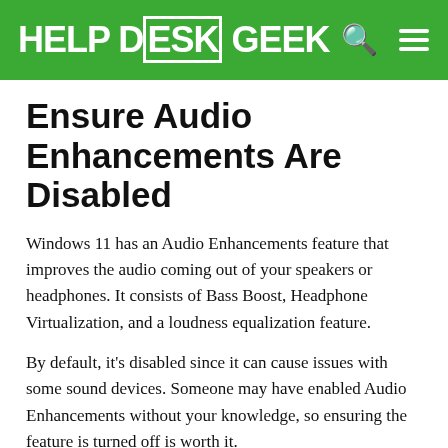HELP DESK GEEK
Ensure Audio Enhancements Are Disabled
Windows 11 has an Audio Enhancements feature that improves the audio coming out of your speakers or headphones. It consists of Bass Boost, Headphone Virtualization, and a loudness equalization feature.
By default, it's disabled since it can cause issues with some sound devices. Someone may have enabled Audio Enhancements without your knowledge, so ensuring the feature is turned off is worth it.
1. Open the Start Menu.
2. Select the Settings cog.